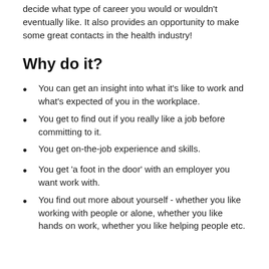decide what type of career you would or wouldn't eventually like. It also provides an opportunity to make some great contacts in the health industry!
Why do it?
You can get an insight into what it's like to work and what's expected of you in the workplace.
You get to find out if you really like a job before committing to it.
You get on-the-job experience and skills.
You get 'a foot in the door' with an employer you want work with.
You find out more about yourself - whether you like working with people or alone, whether you like hands on work, whether you like helping people etc.